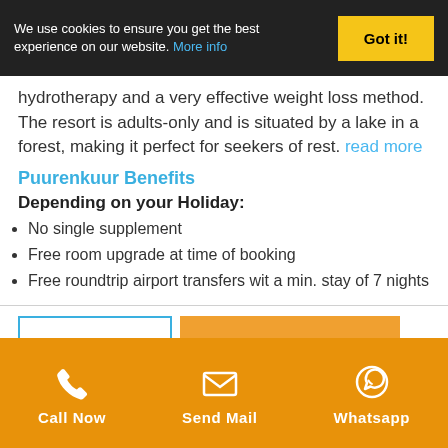We use cookies to ensure you get the best experience on our website. More info | Got it!
hydrotherapy and a very effective weight loss method. The resort is adults-only and is situated by a lake in a forest, making it perfect for seekers of rest. read more
Puurenkuur Benefits
Depending on your Holiday:
No single supplement
Free room upgrade at time of booking
Free roundtrip airport transfers wit a min. stay of 7 nights
Weight loss
Min. 7 nachten, full board, daily PT's
from€1506 p.p.
Call Now | Send Mail | Whatsapp